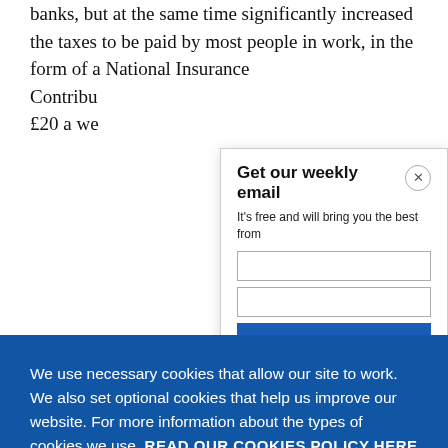banks, but at the same time significantly increased the taxes to be paid by most people in work, in the form of a National Insurance Contribution... £20 a we...
Get our weekly email
It's free and will bring you the best from
We use necessary cookies that allow our site to work. We also set optional cookies that help us improve our website. For more information about the types of cookies we use. READ OUR COOKIES POLICY HERE
COOKIE SETTINGS
ALLOW ALL COOKIES
data.
living st...